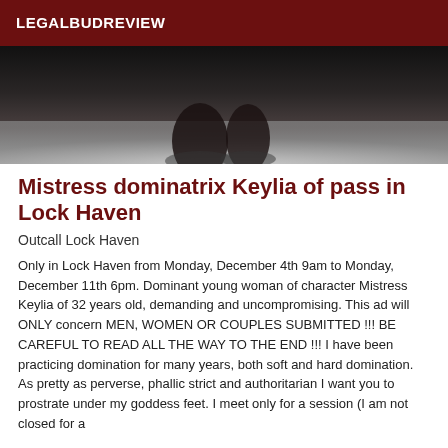LEGALBUDREVIEW
[Figure (photo): Dark photo showing feet/lower body on a light floor, cropped view from above]
Mistress dominatrix Keylia of pass in Lock Haven
Outcall Lock Haven
Only in Lock Haven from Monday, December 4th 9am to Monday, December 11th 6pm. Dominant young woman of character Mistress Keylia of 32 years old, demanding and uncompromising. This ad will ONLY concern MEN, WOMEN OR COUPLES SUBMITTED !!! BE CAREFUL TO READ ALL THE WAY TO THE END !!! I have been practicing domination for many years, both soft and hard domination. As pretty as perverse, phallic strict and authoritarian I want you to prostrate under my goddess feet. I meet only for a session (I am not closed for a